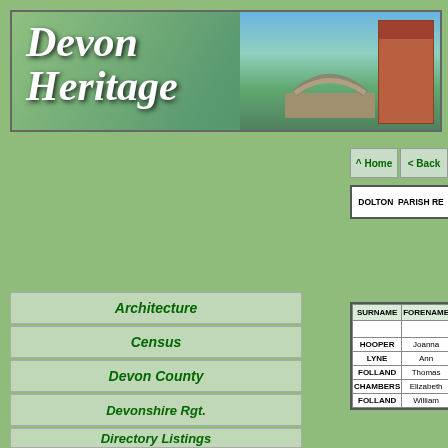[Figure (illustration): Devon Heritage website banner with scenic landscape showing a stone arch bridge, green hills, trees, blue sky, and a red brick church tower on the right. White italic cursive text reads 'Devon Heritage'.]
^ Home   < Back
DOLTON  PARISH RE[GISTER]
Architecture
Census
Devon County
Devonshire Rgt.
Directory Listings
Education
Genealogy
History
Industry
| SURNAME | FORENAME |
| --- | --- |
|  |  |
| HOOPER | Joanna |
| LYNE | Ann |
| FOLLAND | Thomas |
| CHAMBERS | Elizabeth |
| FOLLAND | William |